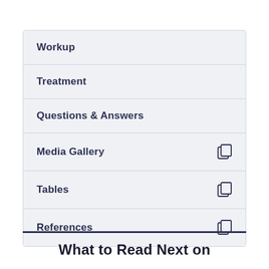Workup
Treatment
Questions & Answers
Media Gallery
Tables
References
What to Read Next on